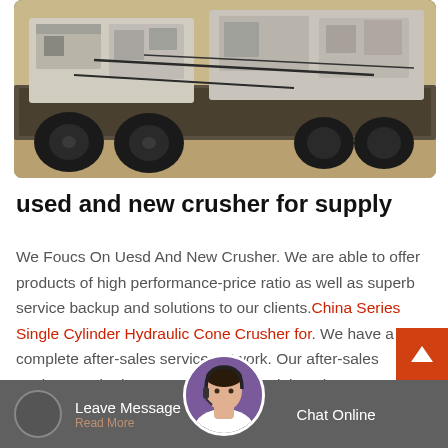[Figure (photo): Industrial crusher machinery loaded on a flatbed truck, photographed outdoors. Large white/cream colored crusher units visible on truck bed with cables/wires. Heavy truck wheels visible in foreground.]
used and new crusher for supply
We Foucs On Uesd And New Crusher. We are able to offer products of high performance-price ratio as well as superb service backup and solutions to our clients. China Series Single Cylinder Hydraulic Cone Crusher for. We have a complete after-sales service network. Our after-sales engineers who have received strict training always put clients first and are able to provide quick maintenance service to ...
Leave Message   Chat Online   Read More